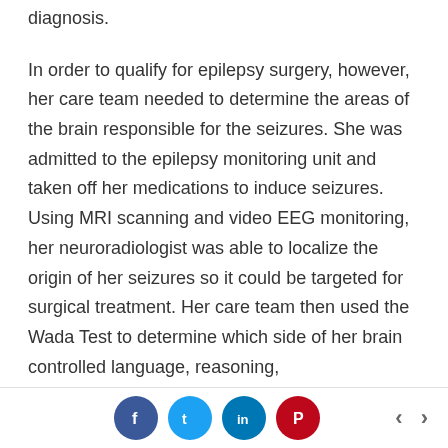diagnosis. In order to qualify for epilepsy surgery, however, her care team needed to determine the areas of the brain responsible for the seizures. She was admitted to the epilepsy monitoring unit and taken off her medications to induce seizures. Using MRI scanning and video EEG monitoring, her neuroradiologist was able to localize the origin of her seizures so it could be targeted for surgical treatment. Her care team then used the Wada Test to determine which side of her brain controlled language, reasoning,